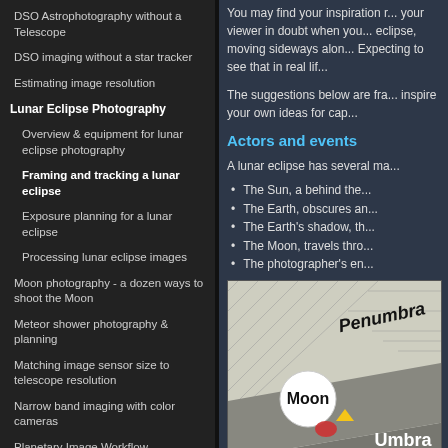DSO Astrophotography without a Telescope
DSO imaging without a star tracker
Estimating image resolution
Lunar Eclipse Photography
Overview & equipment for lunar eclipse photography
Framing and tracking a lunar eclipse
Exposure planning for a lunar eclipse
Processing lunar eclipse images
Moon photography - a dozen ways to shoot the Moon
Meteor shower photography & planning
Matching image sensor size to telescope resolution
Narrow band imaging with color cameras
Planetary Image Workflow
Print and Display Astrophotography
You may find your inspiration r... your viewer in doubt when you... eclipse, moving sideways alon... Expecting to see that in real lif...
The suggestions below are fra... inspire your own ideas for cap...
Actors and events
A lunar eclipse has several ma...
The Sun, a behind the...
The Earth, obscures an...
The Earth's shadow, th...
The Moon, travels thro...
The photographer's en...
[Figure (illustration): Diagram showing the geometry of a lunar eclipse with labeled regions: Penumbra (light gray hatched area), Umbra (dark gray triangle), and Moon (white disk). Small colored dots (yellow triangle and red oval) near the Moon indicate the photographer's position or event markers. A blue arc on the right edge suggests the Earth.]